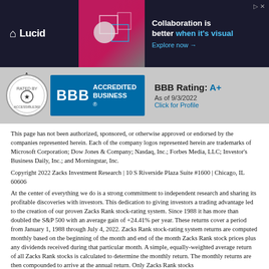[Figure (advertisement): Lucid advertisement banner: dark background with Lucid logo on the left, a woman and geometric shapes in the center, and text 'Collaboration is better when it's visual. Explore now →' on the right.]
[Figure (logo): BBB Accredited Business badge with Accessible360 seal. BBB Rating: A+. As of 9/3/2022. Click for Profile.]
This page has not been authorized, sponsored, or otherwise approved or endorsed by the companies represented herein. Each of the company logos represented herein are trademarks of Microsoft Corporation; Dow Jones & Company; Nasdaq, Inc.; Forbes Media, LLC; Investor's Business Daily, Inc.; and Morningstar, Inc.
Copyright 2022 Zacks Investment Research | 10 S Riverside Plaza Suite #1600 | Chicago, IL 60606
At the center of everything we do is a strong commitment to independent research and sharing its profitable discoveries with investors. This dedication to giving investors a trading advantage led to the creation of our proven Zacks Rank stock-rating system. Since 1988 it has more than doubled the S&P 500 with an average gain of +24.41% per year. These returns cover a period from January 1, 1988 through July 4, 2022. Zacks Rank stock-rating system returns are computed monthly based on the beginning of the month and end of the month Zacks Rank stock prices plus any dividends received during that particular month. A simple, equally-weighted average return of all Zacks Rank stocks is calculated to determine the monthly return. The monthly returns are then compounded to arrive at the annual return. Only Zacks Rank stocks